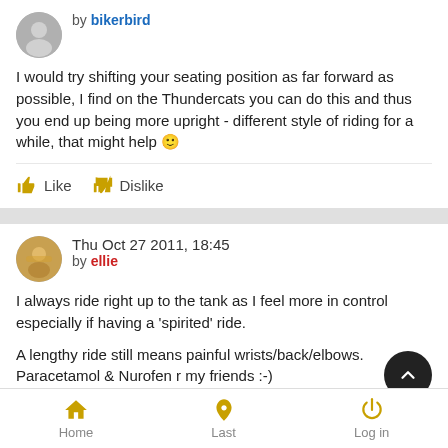by bikerbird
I would try shifting your seating position as far forward as possible, I find on the Thundercats you can do this and thus you end up being more upright - different style of riding for a while, that might help 🙂
Like  Dislike
Thu Oct 27 2011, 18:45
by ellie
I always ride right up to the tank as I feel more in control especially if having a 'spirited' ride.
A lengthy ride still means painful wrists/back/elbows. Paracetamol & Nurofen r my friends :-)
Home  Last  Log in